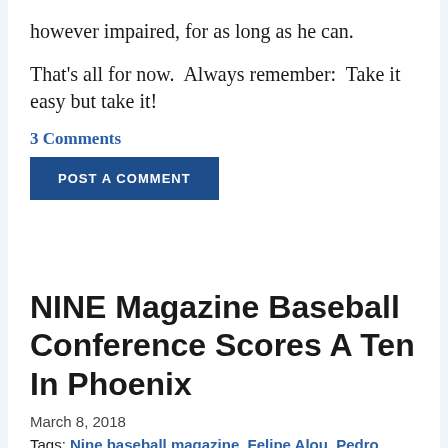however impaired, for as long as he can.
That's all for now.  Always remember:  Take it easy but take it!
3 Comments
POST A COMMENT
NINE Magazine Baseball Conference Scores A Ten In Phoenix
March 8, 2018
Tags: Nine baseball magazine, Felipe Alou, Pedro Martinez, Peter Kerasotis, Charles S. Adams, Larry Baldassaro, Ed Edmonds and Frank Houdek, Olivia deHavilland, Jane Leavy, Rob Garratt, Andy McCue, Jerald Podair, Branch Rickey, Walter O'Malley,